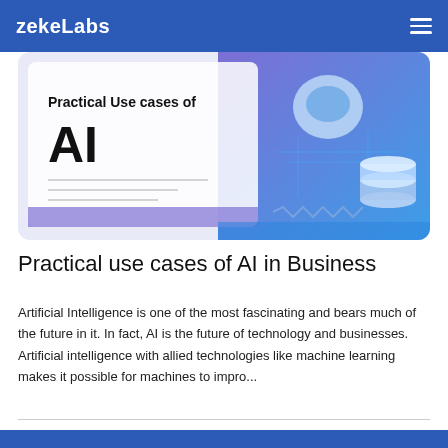zekeLabs
[Figure (illustration): Banner image with text 'Practical Use cases of AI' on left side in black text on white/purple background, and a futuristic AI robot with circuit board and data storage illustration on the right side with blue/purple gradient background.]
Practical use cases of AI in Business
Artificial Intelligence is one of the most fascinating and bears much of the future in it. In fact, AI is the future of technology and businesses. Artificial intelligence with allied technologies like machine learning makes it possible for machines to impro...